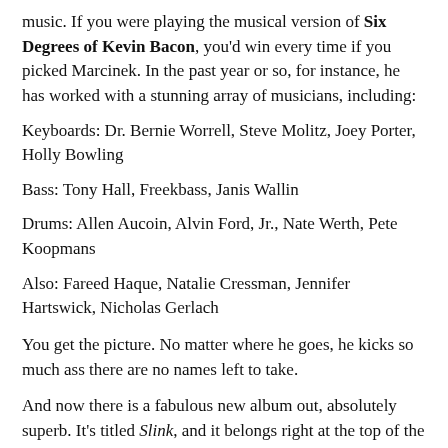music. If you were playing the musical version of Six Degrees of Kevin Bacon, you'd win every time if you picked Marcinek. In the past year or so, for instance, he has worked with a stunning array of musicians, including:
Keyboards: Dr. Bernie Worrell, Steve Molitz, Joey Porter, Holly Bowling
Bass: Tony Hall, Freekbass, Janis Wallin
Drums: Allen Aucoin, Alvin Ford, Jr., Nate Werth, Pete Koopmans
Also: Fareed Haque, Natalie Cressman, Jennifer Hartswick, Nicholas Gerlach
You get the picture. No matter where he goes, he kicks so much ass there are no names left to take.
And now there is a fabulous new album out, absolutely superb. It's titled Slink, and it belongs right at the top of the jazz-funk-jam charts. Much credit goes to Joey Porter (The Motet), who was producer, arranger and mixer, and he wrote one tune on the album.